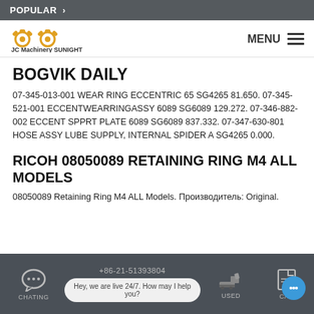POPULAR >
[Figure (logo): JC Machinery SUNIGHT logo with two golden gear icons above the company name text]
BOGVIK DAILY
07-345-013-001 WEAR RING ECCENTRIC 65 SG4265 81.650. 07-345-521-001 ECCENTWEARRINGASSY 6089 SG6089 129.272. 07-346-882-002 ECCENT SPPRT PLATE 6089 SG6089 837.332. 07-347-630-801 HOSE ASSY LUBE SUPPLY, INTERNAL SPIDER A SG4265 0.000.
RICOH 08050089 RETAINING RING M4 ALL MODELS
08050089 Retaining Ring M4 ALL Models. Производитель: Original.
+86-21-51393804  CHATING  USED  CAS  Hey, we are live 24/7. How may I help you?